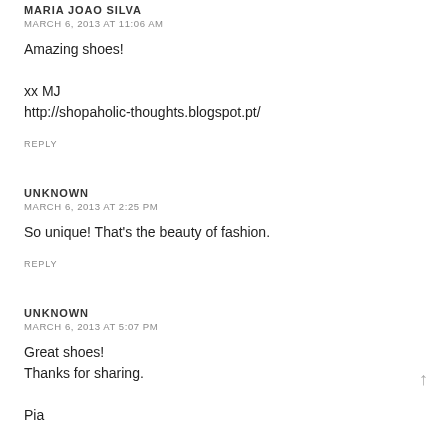MARIA JOAO SILVA
MARCH 6, 2013 AT 11:06 AM
Amazing shoes!

xx MJ
http://shopaholic-thoughts.blogspot.pt/
REPLY
UNKNOWN
MARCH 6, 2013 AT 2:25 PM
So unique! That's the beauty of fashion.
REPLY
UNKNOWN
MARCH 6, 2013 AT 5:07 PM
Great shoes!
Thanks for sharing.

Pia